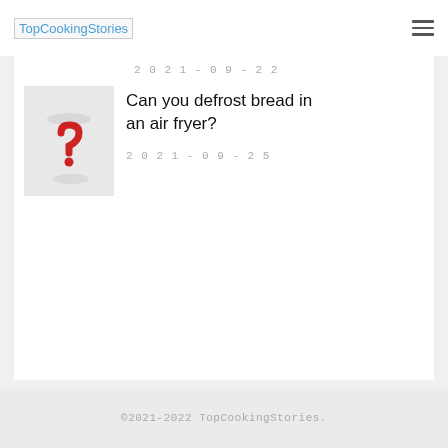TopCookingStories
2021-09-22
[Figure (illustration): Red question mark with chef hat icon on grey background]
Can you defrost bread in an air fryer?
2021-09-25
©2021-2022 TopCookingStories.